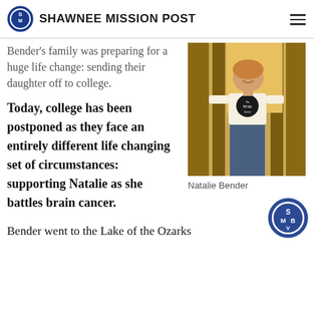SHAWNEE MISSION POST
Bender's family was preparing for a huge life change: sending their daughter off to college.
[Figure (photo): Photo of Natalie Bender, a young woman standing near wooden pillars, wearing a white t-shirt with a circular logo, smiling at the camera]
Natalie Bender
Today, college has been postponed as they face an entirely different life changing set of circumstances: supporting Natalie as she battles brain cancer.
Bender went to the Lake of the Ozarks